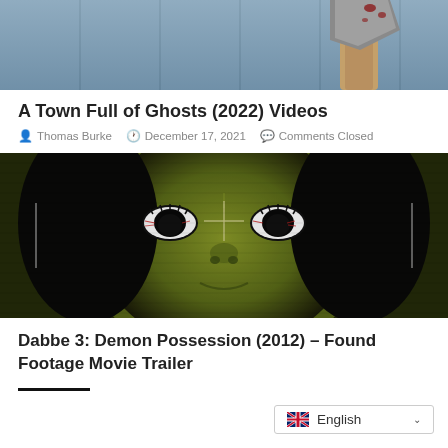[Figure (photo): Top portion of a horror-themed image showing a bloodied axe against a blue-grey wooden background]
A Town Full of Ghosts (2022) Videos
Thomas Burke  December 17, 2021  Comments Closed
[Figure (photo): Close-up horror movie image of a woman's face with green skin tone and bloodshot eyes, with crosshair overlay, night-vision style effect]
Dabbe 3: Demon Possession (2012) – Found Footage Movie Trailer
English language selector widget